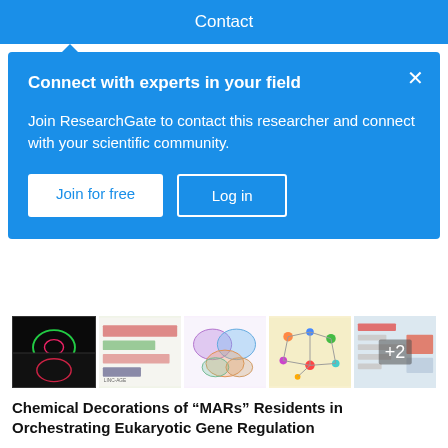Contact
Connect with experts in your field

Join ResearchGate to contact this researcher and connect with your scientific community.

Join for free   Log in
[Figure (photo): Strip of 5 thumbnail images from scientific figures: fluorescence microscopy, gel/blot results, Venn diagrams, network/pathway diagram, and a partially visible diagram with +2 overlay]
Chemical Decorations of “MARs” Residents in Orchestrating Eukaryotic Gene Regulation
Article   Full-text available
Dec 2020
Tanaya Roychowdhury · Samit Chattopadhyay
Genome organization plays a crucial role in gene regulation, orchestrating multiple cellular functions. A meshwork of proteins